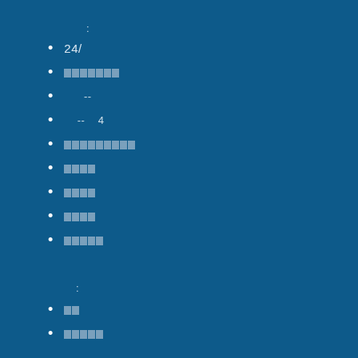:
24/
▪▪▪▪▪▪▪
--
-- 4
▪▪▪▪▪▪▪▪▪
▪▪▪▪
▪▪▪▪
▪▪▪▪
▪▪▪▪▪
:
▪▪
▪▪▪▪▪